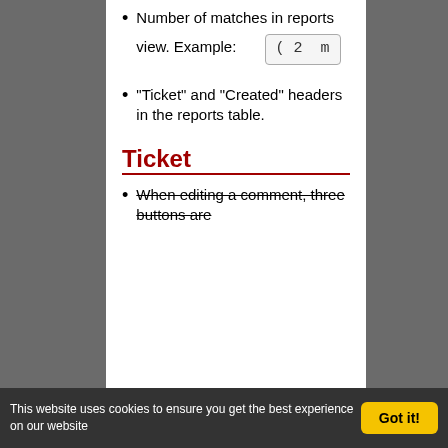Number of matches in reports view. Example: ( 2 m
"Ticket" and "Created" headers in the reports table.
Ticket
When editing a comment, three buttons are